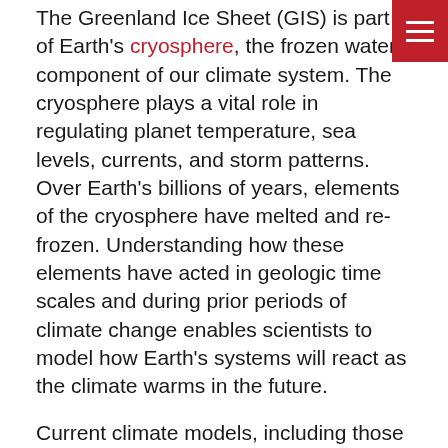The Greenland Ice Sheet (GIS) is part of Earth's cryosphere, the frozen water component of our climate system. The cryosphere plays a vital role in regulating planet temperature, sea levels, currents, and storm patterns. Over Earth's billions of years, elements of the cryosphere have melted and re-frozen. Understanding how these elements have acted in geologic time scales and during prior periods of climate change enables scientists to model how Earth's systems will react as the climate warms in the future.
Current climate models, including those developed by the Intergovernmental Panel on Climate Change, are based on the assumption that Greenland's ice sheet had been relatively stable over the past several million years. The stability of the GIS is under debate. If the GIS was frozen in the past when natural 'forcing' (causes) warmed the globe, that means it could stay stable despite human-caused global warming. Unfortunately, Schaefer's research finds direct evidence from bedrock